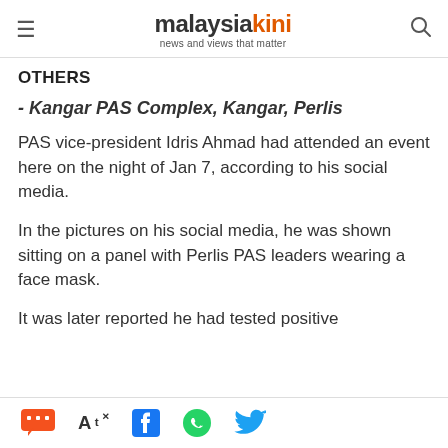malaysiakini — news and views that matter
OTHERS
- Kangar PAS Complex, Kangar, Perlis
PAS vice-president Idris Ahmad had attended an event here on the night of Jan 7, according to his social media.
In the pictures on his social media, he was shown sitting on a panel with Perlis PAS leaders wearing a face mask.
It was later reported he had tested positive